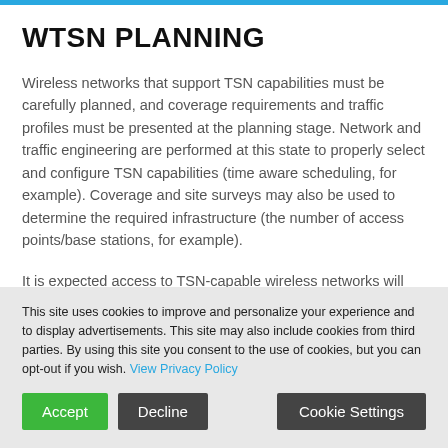WTSN PLANNING
Wireless networks that support TSN capabilities must be carefully planned, and coverage requirements and traffic profiles must be presented at the planning stage. Network and traffic engineering are performed at this state to properly select and configure TSN capabilities (time aware scheduling, for example). Coverage and site surveys may also be used to determine the required infrastructure (the number of access points/base stations, for example).
It is expected access to TSN-capable wireless networks will
This site uses cookies to improve and personalize your experience and to display advertisements. This site may also include cookies from third parties. By using this site you consent to the use of cookies, but you can opt-out if you wish. View Privacy Policy
Accept  Decline  Cookie Settings